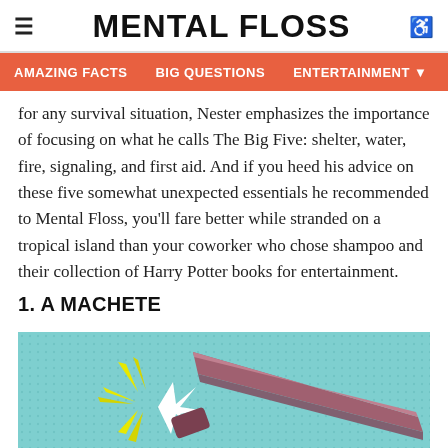MENTAL FLOSS
AMAZING FACTS   BIG QUESTIONS   ENTERTAINMENT
for any survival situation, Nester emphasizes the importance of focusing on what he calls The Big Five: shelter, water, fire, signaling, and first aid. And if you heed his advice on these five somewhat unexpected essentials he recommended to Mental Floss, you'll fare better while stranded on a tropical island than your coworker who chose shampoo and their collection of Harry Potter books for entertainment.
1. A MACHETE
[Figure (illustration): Illustration of a machete with bright yellow and white star-burst flash effects on a light blue dotted background. The machete blade is shown in dark mauve/pink color angled diagonally.]